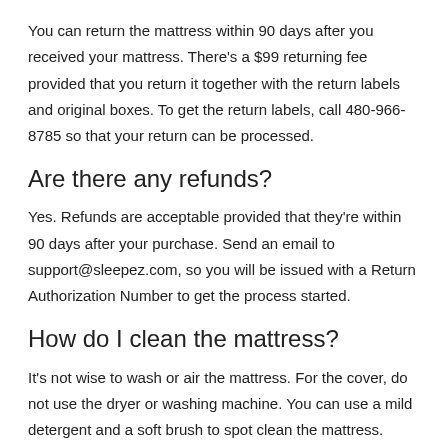You can return the mattress within 90 days after you received your mattress. There's a $99 returning fee provided that you return it together with the return labels and original boxes. To get the return labels, call 480-966-8785 so that your return can be processed.
Are there any refunds?
Yes. Refunds are acceptable provided that they're within 90 days after your purchase. Send an email to support@sleepez.com, so you will be issued with a Return Authorization Number to get the process started.
How do I clean the mattress?
It's not wise to wash or air the mattress. For the cover, do not use the dryer or washing machine. You can use a mild detergent and a soft brush to spot clean the mattress. Additionally, let it air dry.